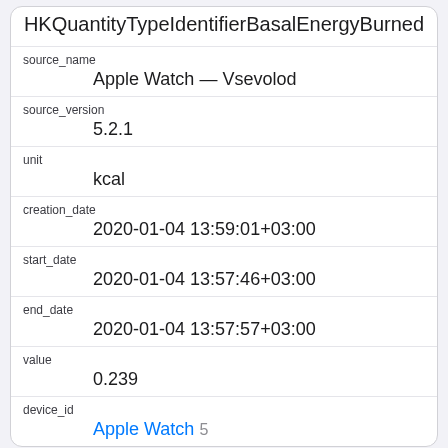HKQuantityTypeIdentifierBasalEnergyBurned
| field | value |
| --- | --- |
| source_name | Apple Watch — Vsevolod |
| source_version | 5.2.1 |
| unit | kcal |
| creation_date | 2020-01-04 13:59:01+03:00 |
| start_date | 2020-01-04 13:57:46+03:00 |
| end_date | 2020-01-04 13:57:57+03:00 |
| value | 0.239 |
| device_id | Apple Watch 5 |
| field | value |
| --- | --- |
| id | 195578 |